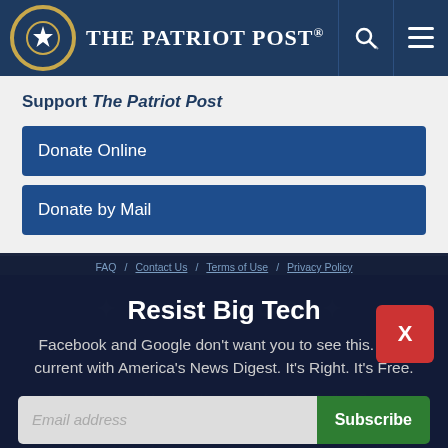The Patriot Post
Support The Patriot Post
Donate Online
Donate by Mail
Resist Big Tech
Facebook and Google don't want you to see this. Stay current with America's News Digest. It's Right. It's Free.
Email address
Subscribe
I'm Already Subscribed